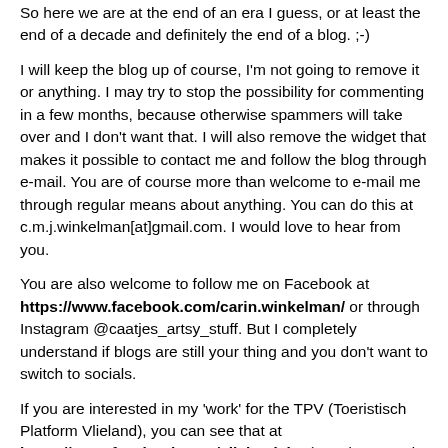So here we are at the end of an era I guess, or at least the end of a decade and definitely the end of a blog. ;-)
I will keep the blog up of course, I'm not going to remove it or anything. I may try to stop the possibility for commenting in a few months, because otherwise spammers will take over and I don't want that. I will also remove the widget that makes it possible to contact me and follow the blog through e-mail. You are of course more than welcome to e-mail me through regular means about anything. You can do this at c.m.j.winkelman[at]gmail.com. I would love to hear from you.
You are also welcome to follow me on Facebook at https://www.facebook.com/carin.winkelman/ or through Instagram @caatjes_artsy_stuff. But I completely understand if blogs are still your thing and you don't want to switch to socials.
If you are interested in my 'work' for the TPV (Toeristisch Platform Vlieland), you can see that at https://www.facebook.com/vlielandsite (you don't need to join facebook to see the page) or at instagram @vlieland_site. They are both in Dutch, but that doesn't take